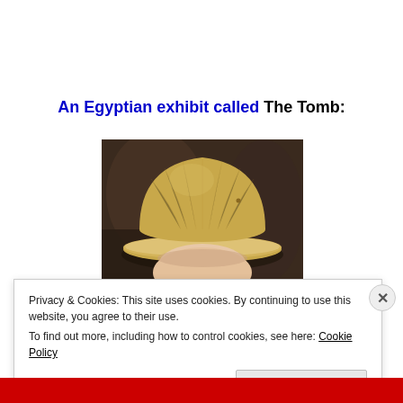An Egyptian exhibit called The Tomb:
[Figure (photo): A person wearing a tan/khaki pith helmet (explorer hat) with a dark stone or cave-like background, photographed from the shoulders up with only the top of the face visible under the brim.]
Privacy & Cookies: This site uses cookies. By continuing to use this website, you agree to their use.
To find out more, including how to control cookies, see here: Cookie Policy